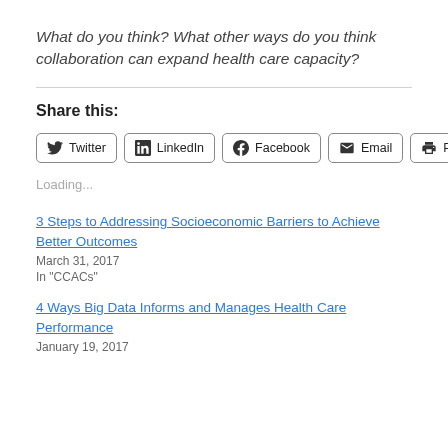What do you think? What other ways do you think collaboration can expand health care capacity?
Share this:
[Figure (other): Social sharing buttons: Twitter, LinkedIn, Facebook, Email, Print]
Loading...
3 Steps to Addressing Socioeconomic Barriers to Achieve Better Outcomes
March 31, 2017
In "CCACs"
4 Ways Big Data Informs and Manages Health Care Performance
January 19, 2017